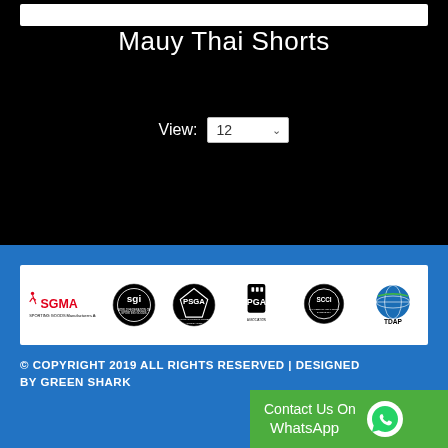Mauy Thai Shorts
View: 12
[Figure (logo): Row of organization logos: SGMA, SGI World Federation of Sporting Goods, PSGA Pakistan Sports Goods Association, PGA Association, SCCI Chamber of Commerce and Industry, TDAP]
© COPYRIGHT 2019 ALL RIGHTS RESERVED | DESIGNED BY GREEN SHARK
Contact Us On WhatsApp